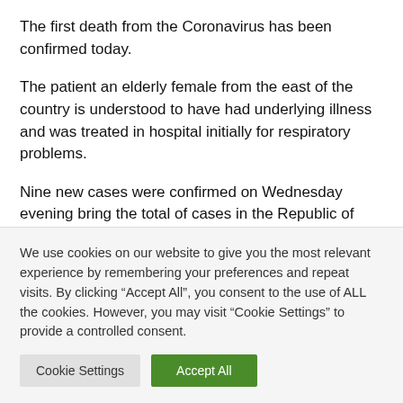The first death from the Coronavirus has been confirmed today.
The patient an elderly female from the east of the country is understood to have had underlying illness and was treated in hospital initially for respiratory problems.
Nine new cases were confirmed on Wednesday evening bring the total of cases in the Republic of Ireland to 43.
If you have a story that you think the WicklowNews.Net readers and beyond should know
We use cookies on our website to give you the most relevant experience by remembering your preferences and repeat visits. By clicking “Accept All”, you consent to the use of ALL the cookies. However, you may visit "Cookie Settings" to provide a controlled consent.